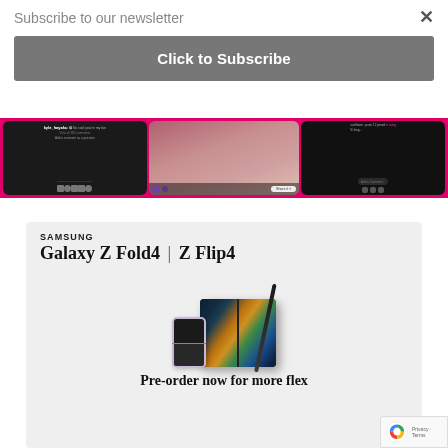Subscribe to our newsletter
×
Click to Subscribe
[Figure (screenshot): Social media app screenshots showing three phone screens with posts, photos, and comments on a pink/magenta background]
[Figure (advertisement): Samsung Galaxy Z Fold4 | Z Flip4 advertisement showing the two foldable phones with text 'Pre-order now for more flex' on a light gray background]
Pre-order now for more flex